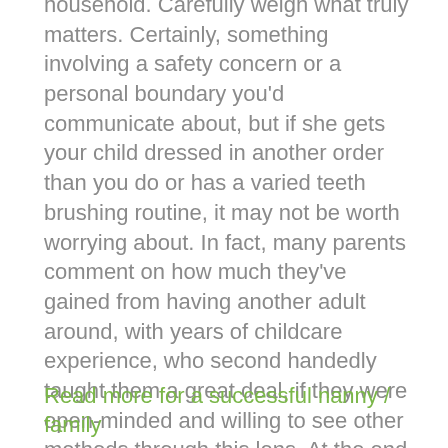household. Carefully weigh what truly matters. Certainly, something involving a safety concern or a personal boundary you'd communicate about, but if she gets your child dressed in another order than you do or has a varied teeth brushing routine, it may not be worth worrying about. In fact, many parents comment on how much they've gained from having another adult around, with years of childcare experience, who second handedly taught them a great deal, if they were open-minded and willing to see other methods through this lens. At the end of the day, if your children are well cared for and you trust her, then that speaks volumes.
Read more for a successful nanny / family